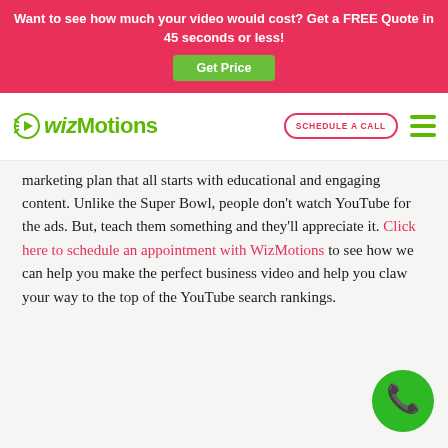Want to see how much your video would cost? Get a FREE Quote in 45 seconds or less!
[Figure (logo): WizMotions logo with green play button icon and green text]
marketing plan that all starts with educational and engaging content. Unlike the Super Bowl, people don't watch YouTube for the ads. But, teach them something and they'll appreciate it. Click here to schedule an appointment with WizMotions to see how we can help you make the perfect business video and help you claw your way to the top of the YouTube search rankings.
[Figure (illustration): Green circular phone/call button icon in bottom right corner]